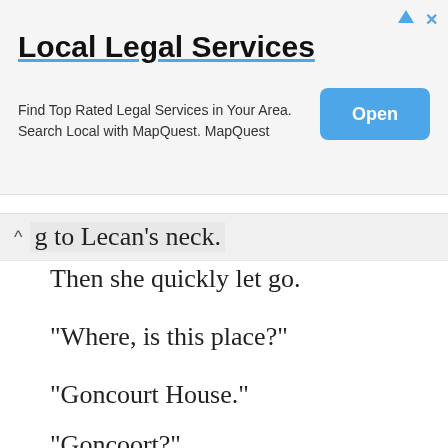[Figure (other): Advertisement banner for Local Legal Services with title, description text, and Open button]
g to Lecan's neck.
Then she quickly let go.
"Where, is this place?"
"Goncourt House."
"Goncoort?"
"The house we visited yesterday."